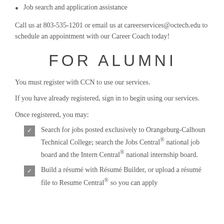Job search and application assistance
Call us at 803-535-1201 or email us at careerservices@octech.edu to schedule an appointment with our Career Coach today!
FOR ALUMNI
You must register with CCN to use our services.
If you have already registered, sign in to begin using our services.
Once registered, you may:
Search for jobs posted exclusively to Orangeburg-Calhoun Technical College; search the Jobs Central® national job board and the Intern Central® national internship board.
Build a résumé with Résumé Builder, or upload a résumé file to Resume Central® so you can apply